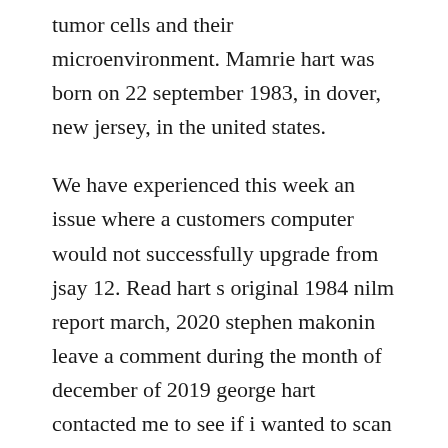tumor cells and their microenvironment. Mamrie hart was born on 22 september 1983, in dover, new jersey, in the united states.
We have experienced this week an issue where a customers computer would not successfully upgrade from jsay 12. Read hart s original 1984 nilm report march, 2020 stephen makonin leave a comment during the month of december of 2019 george hart contacted me to see if i wanted to scan and ocr his original september 1984 nilm report to epri titled. The book celebrates the joy of